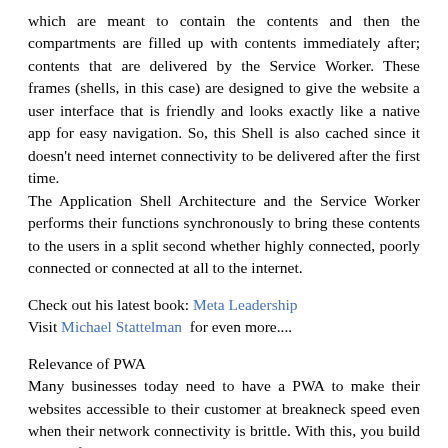which are meant to contain the contents and then the compartments are filled up with contents immediately after; contents that are delivered by the Service Worker. These frames (shells, in this case) are designed to give the website a user interface that is friendly and looks exactly like a native app for easy navigation. So, this Shell is also cached since it doesn't need internet connectivity to be delivered after the first time. The Application Shell Architecture and the Service Worker performs their functions synchronously to bring these contents to the users in a split second whether highly connected, poorly connected or connected at all to the internet.
Check out his latest book: Meta Leadership
Visit Michael Stattelman  for even more....
Relevance of PWA
Many businesses today need to have a PWA to make their websites accessible to their customer at breakneck speed even when their network connectivity is brittle. With this, you build the confidence your customers have in your brand knowing fully well that they can get in touch even